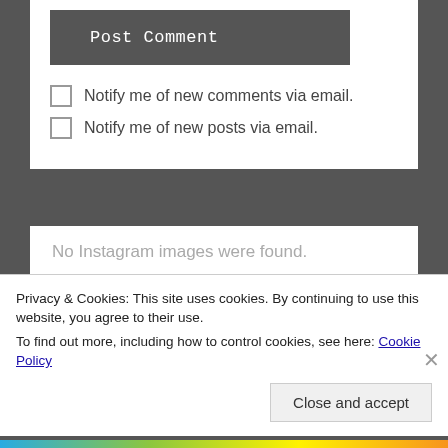Post Comment
Notify me of new comments via email.
Notify me of new posts via email.
No Instagram images were found.
FOLLOW BLOG VIA EMAIL
Privacy & Cookies: This site uses cookies. By continuing to use this website, you agree to their use.
To find out more, including how to control cookies, see here: Cookie Policy
Close and accept